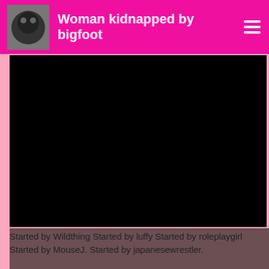Woman kidnapped by bigfoot
[Figure (photo): Black rectangle representing a video player area]
Started by Wildthing Started by luffy Started by roleplaygirl Started by MouseJ. Started by japanesewrestler.
[Figure (photo): Dark brownish-red image area at the bottom of the page]